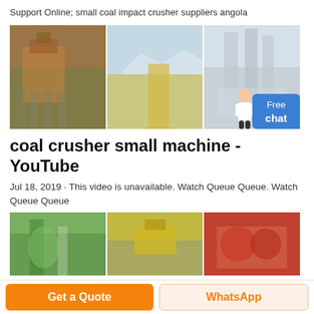Support Online; small coal impact crusher suppliers angola
[Figure (photo): Banner with three photos of industrial coal crushing machinery and equipment outdoors, with a blue 'Free chat' button overlay and a customer service avatar]
coal crusher small machine - YouTube
Jul 18, 2019 · This video is unavailable. Watch Queue Queue. Watch Queue Queue
[Figure (photo): Three photos showing industrial coal crushing and processing equipment including green piping machinery, yellow excavator, and red crusher machine]
Get a Quote
WhatsApp